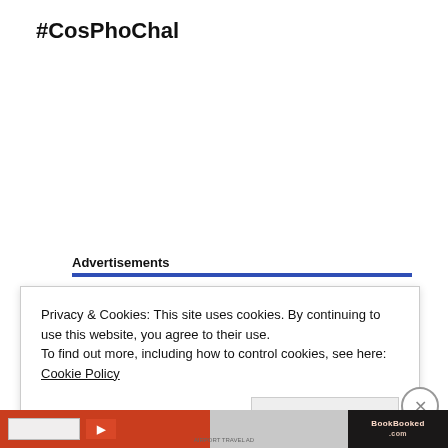#CosPhoChal
Advertisements
Privacy & Cookies: This site uses cookies. By continuing to use this website, you agree to their use.
To find out more, including how to control cookies, see here: Cookie Policy
Close and accept